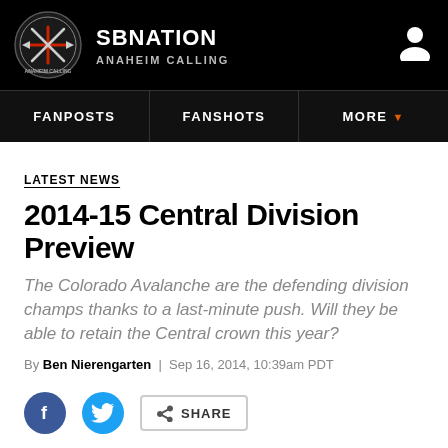[Figure (logo): SB Nation Anaheim Calling site header with circular logo, site name and navigation]
SBNATION ANAHEIM CALLING
LATEST NEWS
2014-15 Central Division Preview
The Colorado Avalanche are the defending division champs thanks to a last-minute push. Will they be able to retain the Central crown this year?
By Ben Nierengarten | Sep 16, 2014, 10:39am PDT